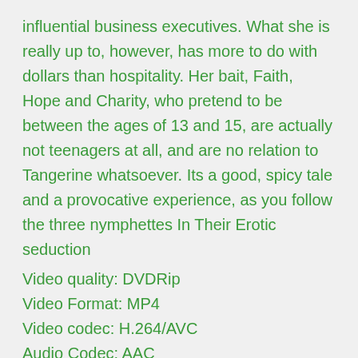influential business executives. What she is really up to, however, has more to do with dollars than hospitality. Her bait, Faith, Hope and Charity, who pretend to be between the ages of 13 and 15, are actually not teenagers at all, and are no relation to Tangerine whatsoever. Its a good, spicy tale and a provocative experience, as you follow the three nymphettes In Their Erotic seduction
Video quality: DVDRip
Video Format: MP4
Video codec: H.264/AVC
Audio Codec: AAC
Video: MPEG4 Video H264 712×480 29.97 fps 2177kbps
Audio: AAC 44100Hz stereo 98Kbps